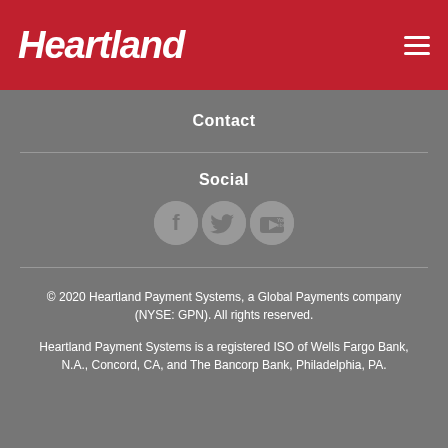Heartland
Contact
Social
[Figure (illustration): Three social media icon buttons: Facebook (f), Twitter (bird), YouTube (play button), all circular with dark gray background]
© 2020 Heartland Payment Systems, a Global Payments company (NYSE: GPN). All rights reserved.
Heartland Payment Systems is a registered ISO of Wells Fargo Bank, N.A., Concord, CA, and The Bancorp Bank, Philadelphia, PA.